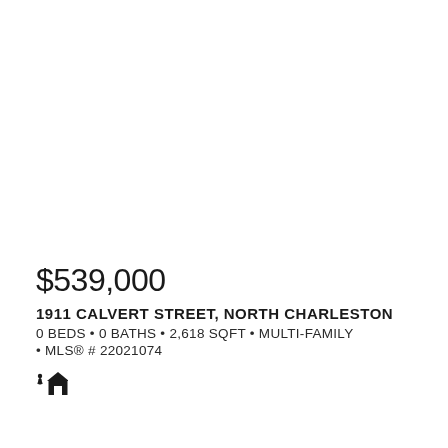$539,000
1911 CALVERT STREET, NORTH CHARLESTON
0 BEDS • 0 BATHS • 2,618 SQFT • MULTI-FAMILY
• MLS® # 22021074
[Figure (illustration): Small house/real estate logo icon]